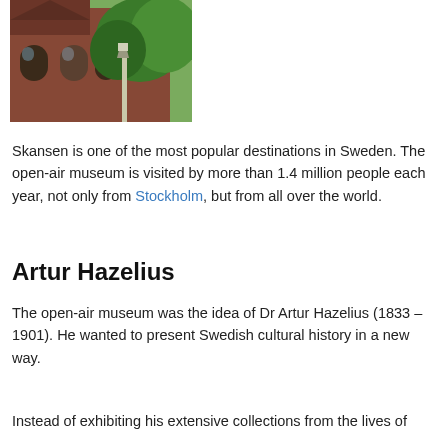[Figure (photo): Photograph of a brick building with arched windows, green trees, and a lamp post in the foreground, taken at Skansen open-air museum in Stockholm.]
Skansen is one of the most popular destinations in Sweden. The open-air museum is visited by more than 1.4 million people each year, not only from Stockholm, but from all over the world.
Artur Hazelius
The open-air museum was the idea of Dr Artur Hazelius (1833 – 1901). He wanted to present Swedish cultural history in a new way.
Instead of exhibiting his extensive collections from the lives of